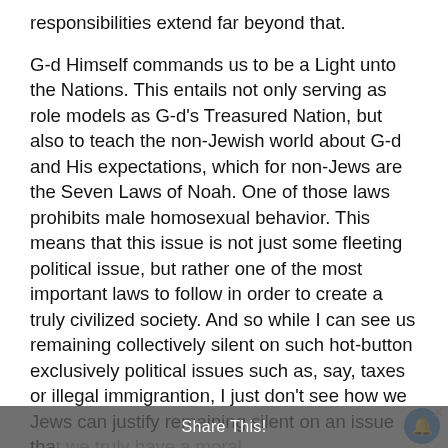responsibilities extend far beyond that.

G-d Himself commands us to be a Light unto the Nations. This entails not only serving as role models as G-d's Treasured Nation, but also to teach the non-Jewish world about G-d and His expectations, which for non-Jews are the Seven Laws of Noah. One of those laws prohibits male homosexual behavior. This means that this issue is not just some fleeting political issue, but rather one of the most important laws to follow in order to create a truly civilized society. And so while I can see us remaining collectively silent on such hot-button exclusively political issues such as, say, taxes or illegal immigrantion, I just don't see how we Jews can justify remaining silent on an issue that we truly have a moral obligation to teach the world about. If...
Share This!